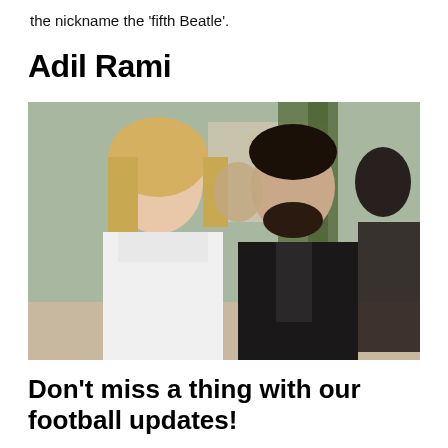the nickname the 'fifth Beatle'.
Adil Rami
[Figure (photo): A blonde woman in a white dress and a bearded man in a dark suit standing together at an outdoor event. Other people are visible in the background.]
Don't miss a thing with our football updates!